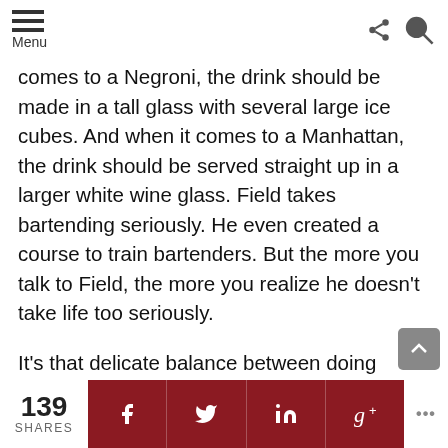Menu
comes to a Negroni, the drink should be made in a tall glass with several large ice cubes. And when it comes to a Manhattan, the drink should be served straight up in a larger white wine glass. Field takes bartending seriously. He even created a course to train bartenders. But the more you talk to Field, the more you realize he doesn't take life too seriously.
It’s that delicate balance between doing something great and doing it with pleasure that sets Field and Bar Hemingway apart. Like the author he admires and the sentences Hemingway wrote, what you see only begins to scratch at the surface of what makes
139 SHARES  [Facebook] [Twitter] [LinkedIn] [Google+] ...